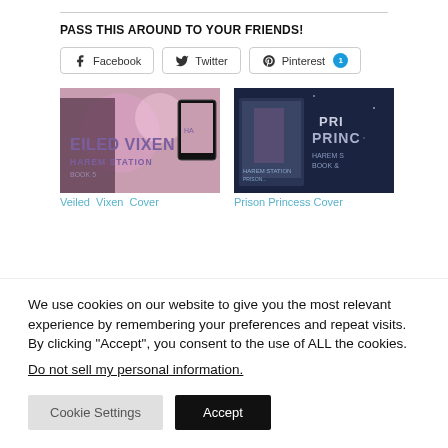PASS THIS AROUND TO YOUR FRIENDS!
[Figure (other): Social sharing buttons: Facebook, Twitter, Pinterest (with badge 1)]
[Figure (illustration): Book cover image for Veiled Vixen - Harem Station series]
Veiled Vixen Cover
[Figure (illustration): Book cover image for Prison Princess - Harem Station series]
Prison Princess Cover
We use cookies on our website to give you the most relevant experience by remembering your preferences and repeat visits. By clicking “Accept”, you consent to the use of ALL the cookies.
Do not sell my personal information.
[Figure (other): Cookie Settings and Accept buttons]